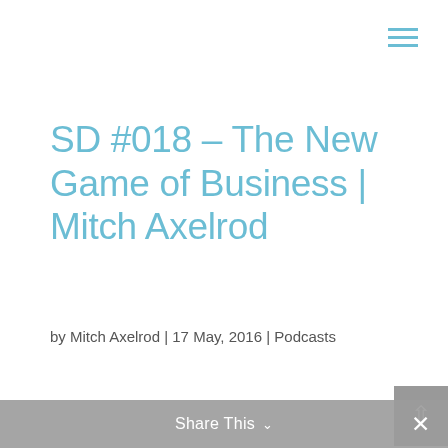≡
SD #018 – The New Game of Business | Mitch Axelrod
by Mitch Axelrod | 17 May, 2016 | Podcasts
In this episode we discus an evolutionary" NEW model of success in business and in life. We'll be talking about your soul, your role and your goal and how they impact The
Share This